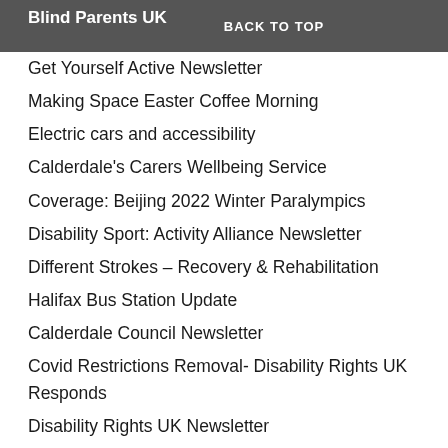Blind Parents UK   BACK TO TOP
Get Yourself Active Newsletter
Making Space Easter Coffee Morning
Electric cars and accessibility
Calderdale's Carers Wellbeing Service
Coverage: Beijing 2022 Winter Paralympics
Disability Sport: Activity Alliance Newsletter
Different Strokes – Recovery & Rehabilitation
Halifax Bus Station Update
Calderdale Council Newsletter
Covid Restrictions Removal- Disability Rights UK Responds
Disability Rights UK Newsletter
Making Good Choices To Help The NHS
Free Mental Health Sessions
How To Report Dog Fouling
Open Meeting Video – Who Wants To Be An NHS Millionaire?